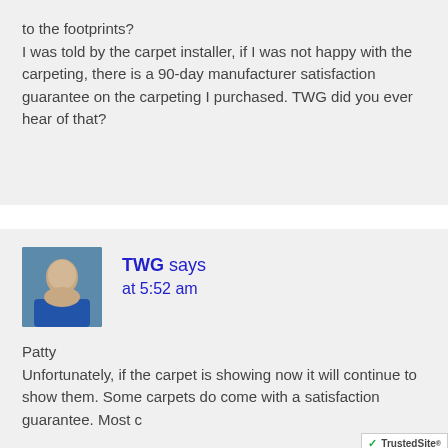to the footprints?
I was told by the carpet installer, if I was not happy with the carpeting, there is a 90-day manufacturer satisfaction guarantee on the carpeting I purchased. TWG did you ever hear of that?
TWG says at 5:52 am
Patty
Unfortunately, if the carpet is showing now it will continue to show them. Some carpets do come with a satisfaction guarantee. Most c